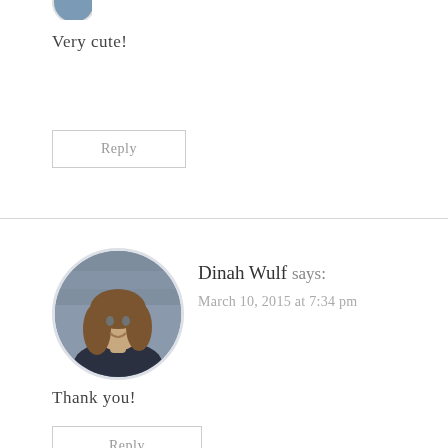[Figure (photo): Partial avatar image at top of page, cropped circle]
Very cute!
Reply
Dinah Wulf says:
March 10, 2015 at 7:34 pm
[Figure (photo): Circular avatar photo of Dinah Wulf, a woman with long wavy hair, smiling, against a dark background]
Thank you!
Reply
Megan says: